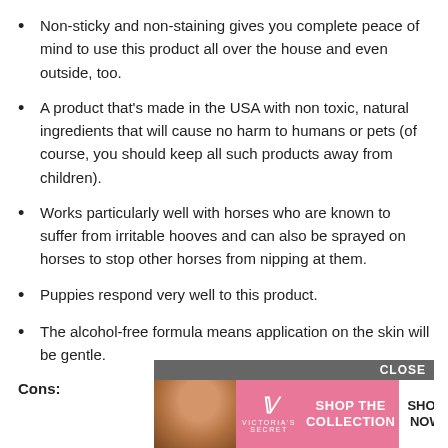Non-sticky and non-staining gives you complete peace of mind to use this product all over the house and even outside, too.
A product that's made in the USA with non toxic, natural ingredients that will cause no harm to humans or pets (of course, you should keep all such products away from children).
Works particularly well with horses who are known to suffer from irritable hooves and can also be sprayed on horses to stop other horses from nipping at them.
Puppies respond very well to this product.
The alcohol-free formula means application on the skin will be gentle.
Cons:
[Figure (photo): Victoria's Secret advertisement banner with a woman's photo on the left, VS logo in center, 'SHOP THE COLLECTION' text, and a 'SHOP NOW' button. A 'CLOSE' bar appears above the banner.]